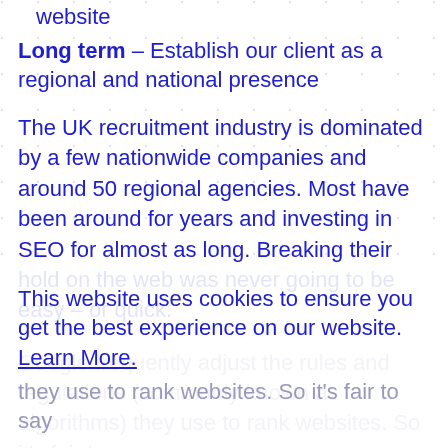website
Long term – Establish our client as a regional and national presence
The UK recruitment industry is dominated by a few nationwide companies and around 50 regional agencies. Most have been around for years and investing in SEO for almost as long. Breaking their hold on the web was never going to be easy – or quick.
Google frequently adjust the rules and regulations (commonly known as algorithms) they use to rank websites. So it's fair to say
This website uses cookies to ensure you get the best experience on our website. Learn More.